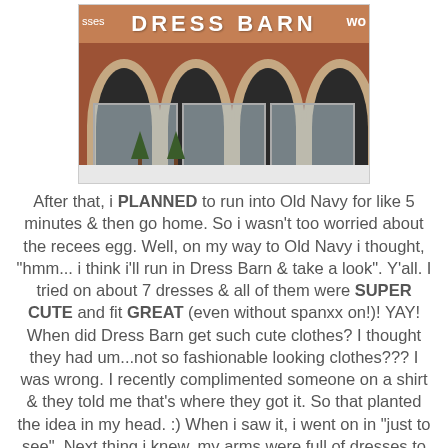[Figure (photo): Exterior photo of a Dress Barn store with brick facade, arched windows, and snow on the ground. White letters spell DRESS BARN on the store sign.]
After that, i PLANNED to run into Old Navy for like 5 minutes & then go home. So i wasn't too worried about the recees egg. Well, on my way to Old Navy i thought, "hmm... i think i'll run in Dress Barn & take a look". Y'all. I tried on about 7 dresses & all of them were SUPER CUTE and fit GREAT (even without spanxx on!)! YAY! When did Dress Barn get such cute clothes? I thought they had um...not so fashionable looking clothes??? I was wrong. I recently complimented someone on a shirt & they told me that's where they got it. So that planted the idea in my head. :) When i saw it, i went on in "just to see". Next thing i knew, my arms were full of dresses to try on.